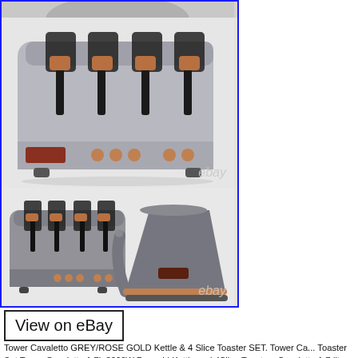[Figure (photo): Partial top image of toaster/kettle set (cropped at top)]
[Figure (photo): Grey and rose gold 4-slice Tower Cavaletto toaster with copper-colored knobs and controls, angled view on white background, with 'ebay' watermark]
[Figure (photo): Grey and rose gold 4-slice Tower Cavaletto toaster (smaller, front view) alongside a grey pyramid kettle with rose gold accents on white background, with 'ebay' watermark]
View on eBay
Tower Cavaletto GREY/ROSE GOLD Kettle & 4 Slice Toaster SET. Tower Ca... Toaster Set Tower Cavaletto 1.7L 3000W Pyramid Kettle and 4Slice Toaste... Cavaletto 1.7-litre Pyramid Kettle is sure to impress in your kitchen. Make...